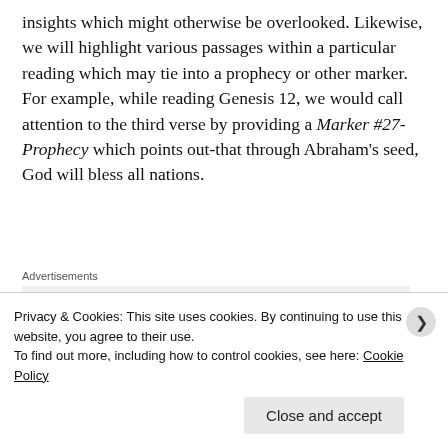insights which might otherwise be overlooked. Likewise, we will highlight various passages within a particular reading which may tie into a prophecy or other marker. For example, while reading Genesis 12, we would call attention to the third verse by providing a Marker #27-Prophecy which points out-that through Abraham's seed, God will bless all nations.
Advertisements
[Figure (other): Advertisement banner showing partial text 'Build a writing']
Privacy & Cookies: This site uses cookies. By continuing to use this website, you agree to their use.
To find out more, including how to control cookies, see here: Cookie Policy
Close and accept